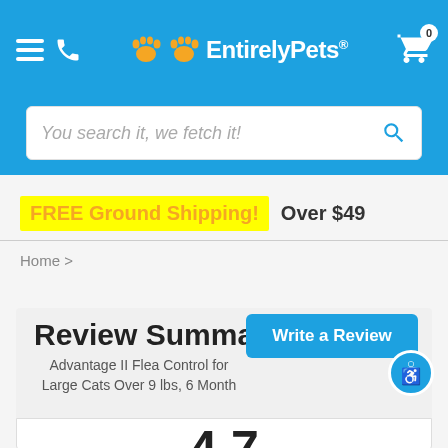EntirelyPets
You search it, we fetch it!
FREE Ground Shipping! Over $49
Home >
Review Summary
Advantage II Flea Control for Large Cats Over 9 lbs, 6 Month
Write a Review
4.7